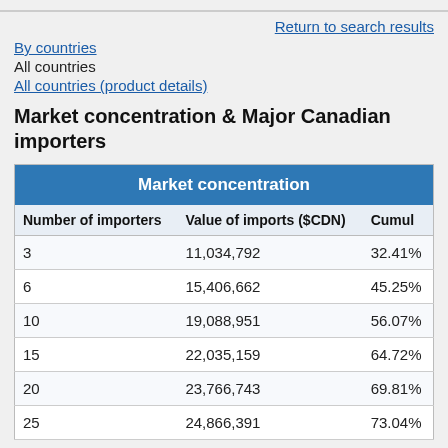Return to search results
By countries
All countries
All countries (product details)
Market concentration & Major Canadian importers
| Number of importers | Value of imports ($CDN) | Cumul |
| --- | --- | --- |
| 3 | 11,034,792 | 32.41% |
| 6 | 15,406,662 | 45.25% |
| 10 | 19,088,951 | 56.07% |
| 15 | 22,035,159 | 64.72% |
| 20 | 23,766,743 | 69.81% |
| 25 | 24,866,391 | 73.04% |